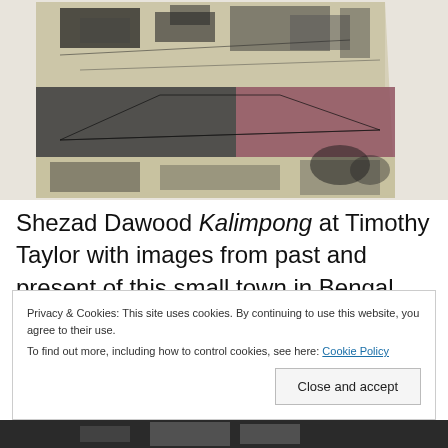[Figure (photo): Artwork on a white gallery wall — a large mixed-media canvas with black-and-white photographic imagery of buildings layered over dusty cream and reddish-maroon color fields, showing architectural scenes of a small town.]
Shezad Dawood Kalimpong at Timothy Taylor with images from past and present of this small town in Bengal worked
Privacy & Cookies: This site uses cookies. By continuing to use this website, you agree to their use.
To find out more, including how to control cookies, see here: Cookie Policy
[Figure (photo): Bottom strip showing a partial view of another photograph — dark tones with some lighter elements visible.]